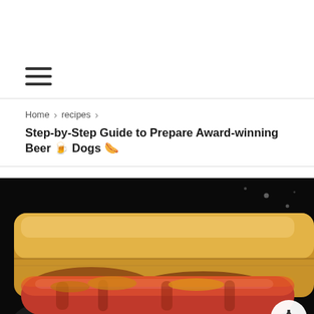Home > recipes >
Step-by-Step Guide to Prepare Award-winning Beer 🍺 Dogs 🌭
[Figure (photo): Close-up photo of beer dogs (hot dogs cooked in beer) in a bun on a plate with dark background. The hot dogs appear caramelized with onions and are served in a soft bun.]